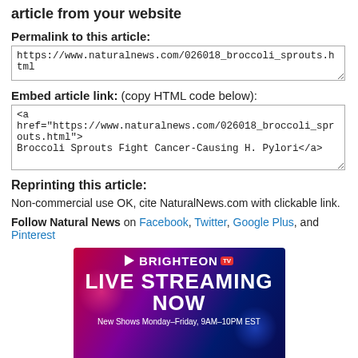article from your website
Permalink to this article:
https://www.naturalnews.com/026018_broccoli_sprouts.html
Embed article link: (copy HTML code below):
<a href="https://www.naturalnews.com/026018_broccoli_sprouts.html">Broccoli Sprouts Fight Cancer-Causing H. Pylori</a>
Reprinting this article:
Non-commercial use OK, cite NaturalNews.com with clickable link.
Follow Natural News on Facebook, Twitter, Google Plus, and Pinterest
[Figure (other): Brighteon TV Live Streaming Now advertisement banner. Text reads: BRIGHTEON TV, LIVE STREAMING NOW, New Shows Monday-Friday, 9AM-10PM EST]